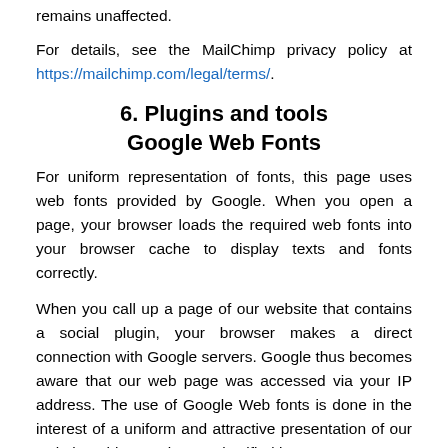remains unaffected.
For details, see the MailChimp privacy policy at https://mailchimp.com/legal/terms/.
6. Plugins and tools
Google Web Fonts
For uniform representation of fonts, this page uses web fonts provided by Google. When you open a page, your browser loads the required web fonts into your browser cache to display texts and fonts correctly.
When you call up a page of our website that contains a social plugin, your browser makes a direct connection with Google servers. Google thus becomes aware that our web page was accessed via your IP address. The use of Google Web fonts is done in the interest of a uniform and attractive presentation of our website. This constitutes a justified interest pursuant to Art. 6 (1) (f) DSGVO.
If your browser does not support web fonts, a standard font is used by your computer.